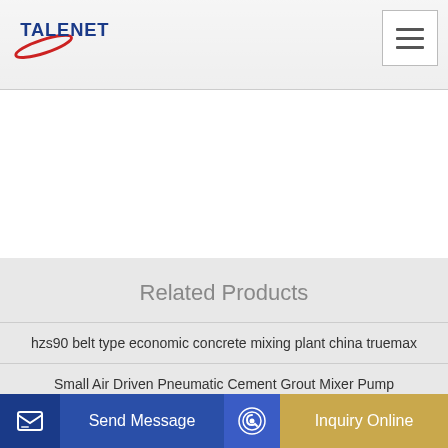[Figure (logo): TALENET company logo with red swoosh and blue text]
Related Products
hzs90 belt type economic concrete mixing plant china truemax
Small Air Driven Pneumatic Cement Grout Mixer Pump
...truck...
Send Message
Inquiry Online